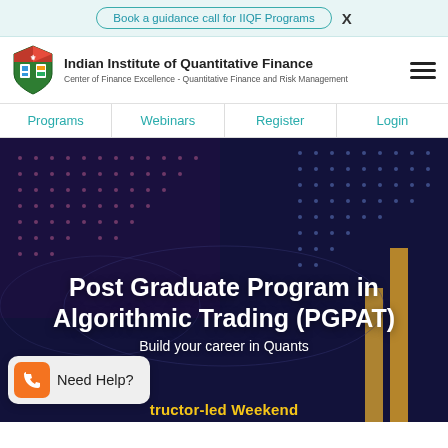Book a guidance call for IIQF Programs  X
Indian Institute of Quantitative Finance
Center of Finance Excellence - Quantitative Finance and Risk Management
Programs | Webinars | Register | Login
[Figure (photo): Dark blue hero banner with glowing dot grid pattern and gold bar chart elements in background]
Post Graduate Program in Algorithmic Trading (PGPAT)
Build your career in Quants
tructor-led Weekend
Need Help?